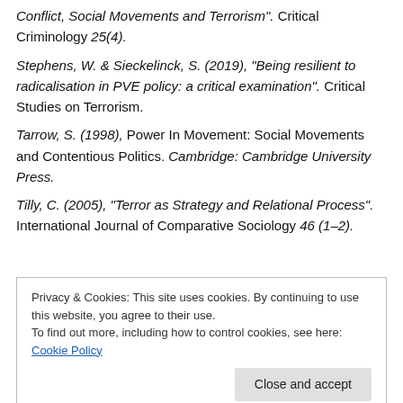Conflict, Social Movements and Terrorism". Critical Criminology 25(4).
Stephens, W. & Sieckelinck, S. (2019), "Being resilient to radicalisation in PVE policy: a critical examination". Critical Studies on Terrorism.
Tarrow, S. (1998), Power In Movement: Social Movements and Contentious Politics. Cambridge: Cambridge University Press.
Tilly, C. (2005), "Terror as Strategy and Relational Process". International Journal of Comparative Sociology 46 (1–2).
Privacy & Cookies: This site uses cookies. By continuing to use this website, you agree to their use. To find out more, including how to control cookies, see here: Cookie Policy | Close and accept
such it's difficult, if not impossible, to identify a process of